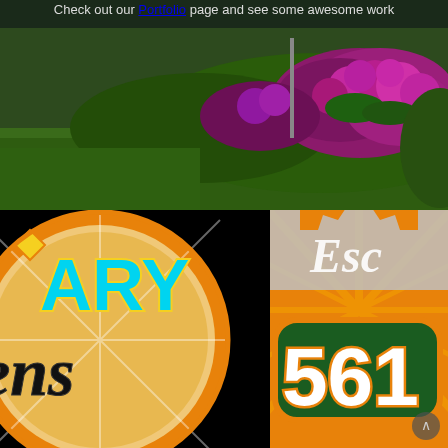Check out our Portfolio page and see some awesome work
[Figure (photo): Garden photo with bright purple/magenta flowers (impatiens) against green grass lawn with a pole in the background]
[Figure (logo): Partial circular logo badge showing text 'ARY' in cyan/blue with yellow border and 'ens' in black cursive style on orange/cream background with orange ring border]
[Figure (infographic): Right side shows partial text 'Esc' in white italic on gray starburst background, and large number '561' in white with orange outline on dark green rounded rectangle badge, over orange starburst background]